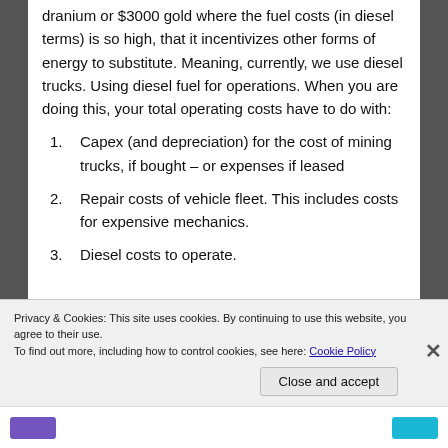dranium or $3000 gold where the fuel costs (in diesel terms) is so high, that it incentivizes other forms of energy to substitute. Meaning, currently, we use diesel trucks. Using diesel fuel for operations. When you are doing this, your total operating costs have to do with:
Capex (and depreciation) for the cost of mining trucks, if bought – or expenses if leased
Repair costs of vehicle fleet. This includes costs for expensive mechanics.
Diesel costs to operate.
Privacy & Cookies: This site uses cookies. By continuing to use this website, you agree to their use.
To find out more, including how to control cookies, see here: Cookie Policy